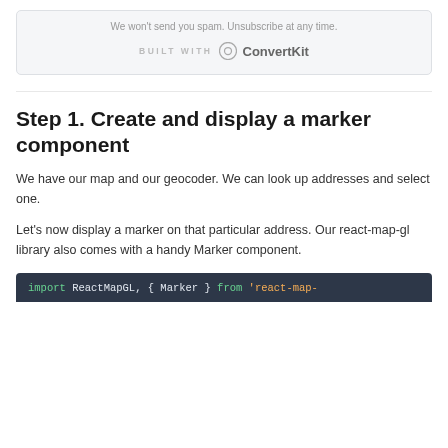We won't send you spam. Unsubscribe at any time.
[Figure (logo): BUILT WITH ConvertKit logo with circular icon]
Step 1. Create and display a marker component
We have our map and our geocoder. We can look up addresses and select one.
Let's now display a marker on that particular address. Our react-map-gl library also comes with a handy Marker component.
import ReactMapGL, { Marker } from 'react-map-